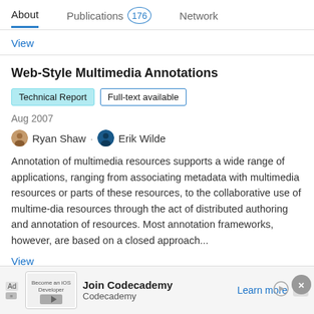About   Publications 176   Network
View
Web-Style Multimedia Annotations
Technical Report   Full-text available
Aug 2007
Ryan Shaw · Erik Wilde
Annotation of multimedia resources supports a wide range of applications, ranging from associating metadata with multimedia resources or parts of these resources, to the collaborative use of multime-dia resources through the act of distributed authoring and annotation of resources. Most annotation frameworks, however, are based on a closed approach...
View
Advertisement
Ad   Join Codecademy   Codecademy   Learn more